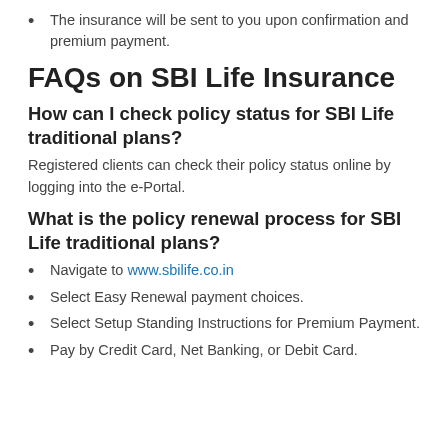The insurance will be sent to you upon confirmation and premium payment.
FAQs on SBI Life Insurance
How can I check policy status for SBI Life traditional plans?
Registered clients can check their policy status online by logging into the e-Portal.
What is the policy renewal process for SBI Life traditional plans?
Navigate to www.sbilife.co.in
Select Easy Renewal payment choices.
Select Setup Standing Instructions for Premium Payment.
Pay by Credit Card, Net Banking, or Debit Card.